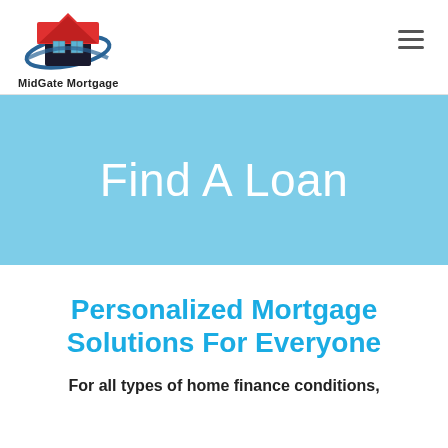[Figure (logo): MidGate Mortgage logo: house icon with red roof and dark swoosh, above text 'MidGate Mortgage']
[Figure (other): Hamburger menu icon (three horizontal lines) in upper right corner]
Find A Loan
Personalized Mortgage Solutions For Everyone
For all types of home finance conditions,